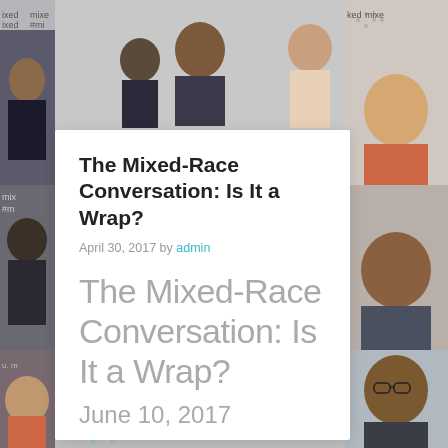[Figure (photo): Background collage of diverse people at a Mixed Remixed event, with a repeating #mixedremixed banner backdrop. Multiple portrait photos arranged in a grid pattern around a central white card.]
The Mixed-Race Conversation: Is It a Wrap?
April 30, 2017 by admin
The Mixed-Race Conversation: Is It a Wrap?
June 10, 2017